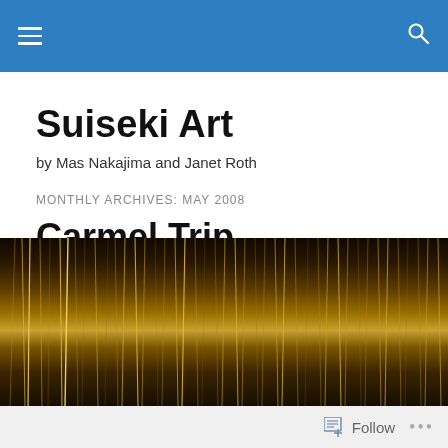Suiseki Art — navigation bar
Suiseki Art
by Mas Nakajima and Janet Roth
MONTHLY ARCHIVES: MAY 2008
Carmel Trip
[Figure (photo): Close-up photograph of fibrous, golden-brown material with light reflecting off strands, resembling natural wood grain or dried grass fibers.]
Follow ...